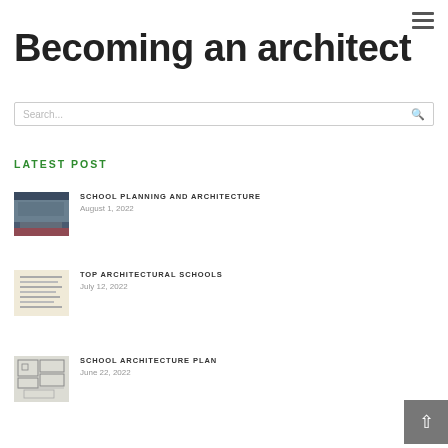Becoming an architect
LATEST POST
[Figure (photo): Thumbnail photo of a school building at dusk with crowd]
SCHOOL PLANNING AND ARCHITECTURE
August 1, 2022
[Figure (photo): Thumbnail image of document pages with text lines]
TOP ARCHITECTURAL SCHOOLS
July 12, 2022
[Figure (photo): Thumbnail image of architectural floor plan sketch]
SCHOOL ARCHITECTURE PLAN
June 22, 2022